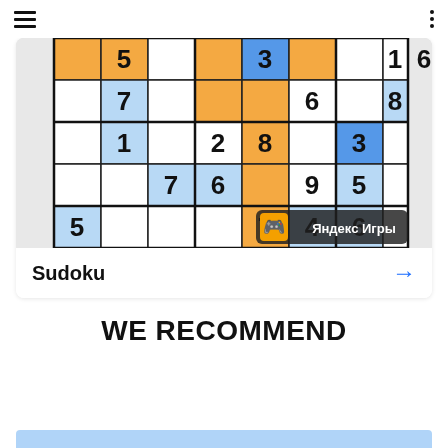≡   ⋮
[Figure (screenshot): Sudoku puzzle game screenshot showing a partially filled 9x9 grid with orange and blue highlighted cells containing numbers 5,3,1,6,7,6,8,1,2,8,3,7,6,9,5,5,7,4,6]
Sudoku →
WE RECOMMEND